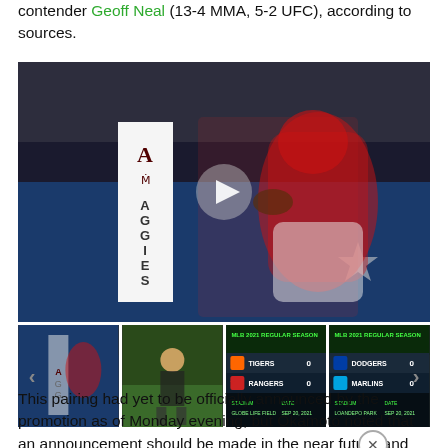contender Geoff Neal (13-4 MMA, 5-2 UFC), according to sources.
[Figure (photo): Arkansas quarterback in red jersey running with football in stadium with Texas A&M Aggies signage in background, video play button overlay]
[Figure (photo): Thumbnail 1: Arkansas player on field]
[Figure (photo): Thumbnail 2: Coach standing on field]
[Figure (screenshot): Thumbnail 3: MLB scoreboard Tigers vs Rangers]
[Figure (screenshot): Thumbnail 4: MLB scoreboard Dodgers vs Marlins]
This pairing had yet to be officially announced by the promotion as of Monday evening, but Okamoto noted that an announcement should be made in the near future and